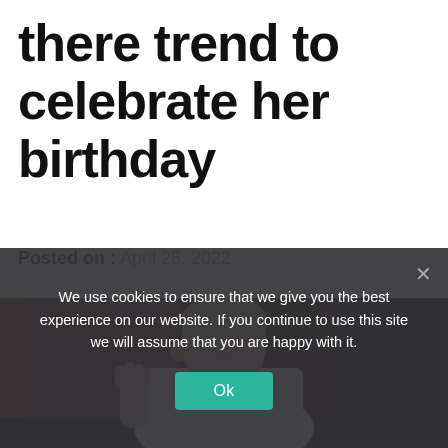there trend to celebrate her birthday
Posted on : April 25, 2022
[Figure (photo): Woman with blonde hair wearing a white lace jacket and pearl necklace, raising her hand, photographed against a dark door background.]
We use cookies to ensure that we give you the best experience on our website. If you continue to use this site we will assume that you are happy with it.